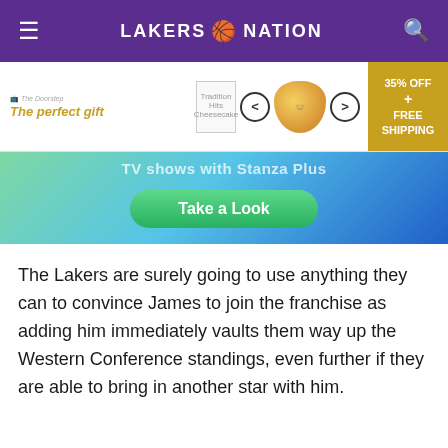LAKERS NATION
[Figure (screenshot): Advertisement banner showing 'The perfect gift' with a bowl image, navigation arrows, and '35% OFF + FREE SHIPPING' callout]
[Figure (screenshot): Promotional banner with gradient blue/green background, partially visible text 'TV shows with Stanza Plus', and a green 'Take a Look' button]
The Lakers are surely going to use anything they can to convince James to join the franchise as adding him immediately vaults them way up the Western Conference standings, even further if they are able to bring in another star with him.